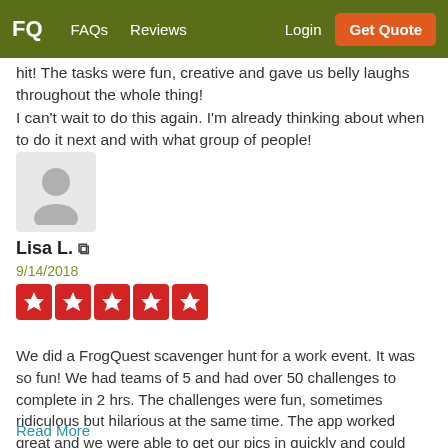FQ  FAQs  Reviews  Login  Get Quote
hit! The tasks were fun, creative and gave us belly laughs throughout the whole thing!
I can't wait to do this again. I'm already thinking about when to do it next and with what group of people!
[Figure (illustration): Generic user avatar placeholder icon (grey circle head and shoulders silhouette on light grey background)]
Lisa L. ⧉
9/14/2018
[Figure (other): Five red star rating boxes]
We did a FrogQuest scavenger hunt for a work event. It was so fun! We had teams of 5 and had over 50 challenges to complete in 2 hrs. The challenges were fun, sometimes ridiculous but hilarious at the same time. The app worked great and we were able to get our pics in quickly and could see the status of the pics in real
Read More